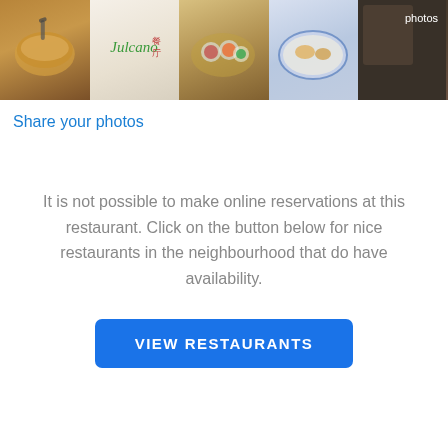[Figure (photo): Strip of 5 restaurant food photos including soup, menu, sushi plate, seafood dish, and a partly visible dark photo with 'photos' label]
Share your photos
It is not possible to make online reservations at this restaurant. Click on the button below for nice restaurants in the neighbourhood that do have availability.
VIEW RESTAURANTS